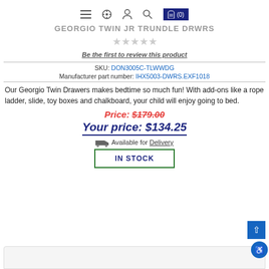GEORGIO TWIN JR TRUNDLE DRWRS
Be the first to review this product
SKU: DON3005C-TLWWDG
Manufacturer part number: IHX5003-DWRS.EXF1018
Our Georgio Twin Drawers makes bedtime so much fun! With add-ons like a rope ladder, slide, toy boxes and chalkboard, your child will enjoy going to bed.
Price: $179.00
Your price: $134.25
Available for Delivery
IN STOCK